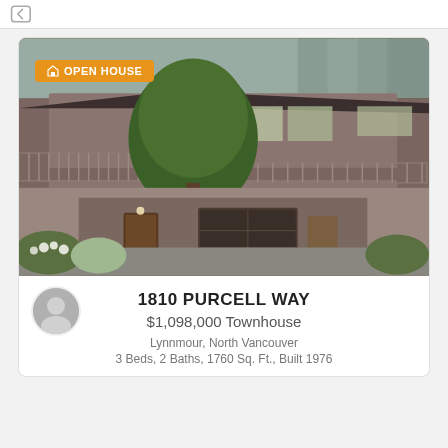[Figure (screenshot): Top navigation bar with back arrow icon]
[Figure (photo): Exterior photo of a two-story townhouse with wood siding, large decks, garage doors, and trees surrounding the property. An orange 'OPEN HOUSE' badge overlays the top-left corner.]
1810 PURCELL WAY
$1,098,000 Townhouse
Lynnmour, North Vancouver
3 Beds, 2 Baths, 1760 Sq. Ft., Built 1976